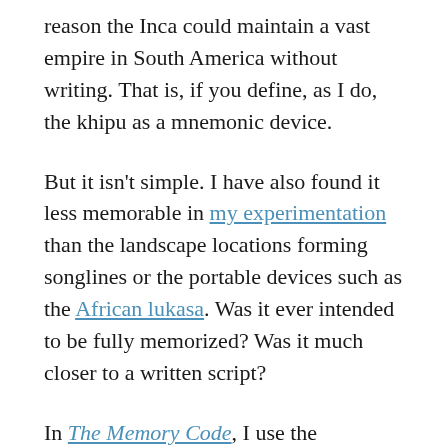reason the Inca could maintain a vast empire in South America without writing. That is, if you define, as I do, the khipu as a mnemonic device.
But it isn't simple. I have also found it less memorable in my experimentation than the landscape locations forming songlines or the portable devices such as the African lukasa. Was it ever intended to be fully memorized? Was it much closer to a written script?
In The Memory Code, I use the narrowest definition of writing, that of a script which represents the sounds to a degree that an independent reader of the same culture will reproduce the exact words inscribed by the